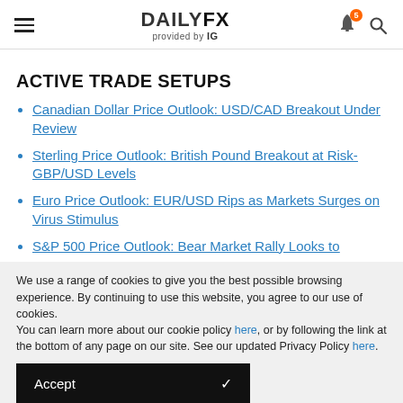DAILYFX provided by IG
ACTIVE TRADE SETUPS
Canadian Dollar Price Outlook: USD/CAD Breakout Under Review
Sterling Price Outlook: British Pound Breakout at Risk- GBP/USD Levels
Euro Price Outlook: EUR/USD Rips as Markets Surges on Virus Stimulus
S&P 500 Price Outlook: Bear Market Rally Looks to
We use a range of cookies to give you the best possible browsing experience. By continuing to use this website, you agree to our use of cookies.
You can learn more about our cookie policy here, or by following the link at the bottom of any page on our site. See our updated Privacy Policy here.